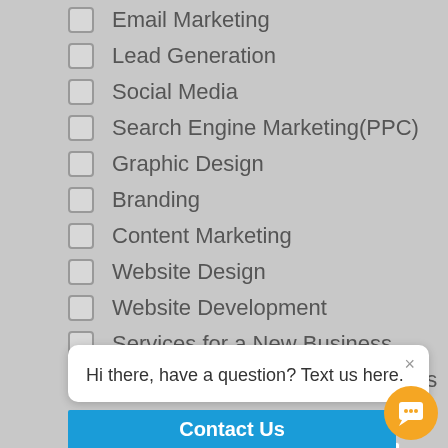Email Marketing
Lead Generation
Social Media
Search Engine Marketing(PPC)
Graphic Design
Branding
Content Marketing
Website Design
Website Development
Services for a New Business
Services for an Existing Business
Comments
Hi there, have a question? Text us here.
Contact Us